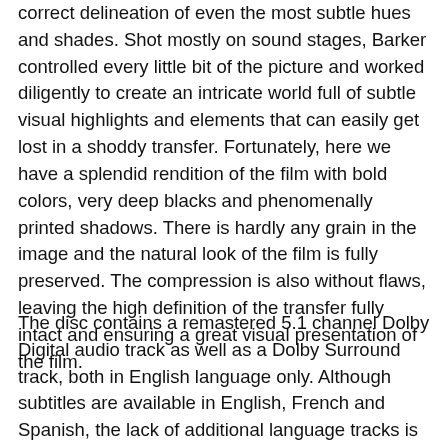correct delineation of even the most subtle hues and shades. Shot mostly on sound stages, Barker controlled every little bit of the picture and worked diligently to create an intricate world full of subtle visual highlights and elements that can easily get lost in a shoddy transfer. Fortunately, here we have a splendid rendition of the film with bold colors, very deep blacks and phenomenally printed shadows. There is hardly any grain in the image and the natural look of the film is fully preserved. The compression is also without flaws, leaving the high definition of the transfer fully intact and ensuring a great visual presentation of the film.
The disc contains a remastered 5.1 channel Dolby Digital audio track as well as a Dolby Surround track, both in English language only. Although subtitles are available in English, French and Spanish, the lack of additional language tracks is surprising. The quality of the 5.1 mix is very good, though, with a wide sound stage that is enveloping and very active. Surround